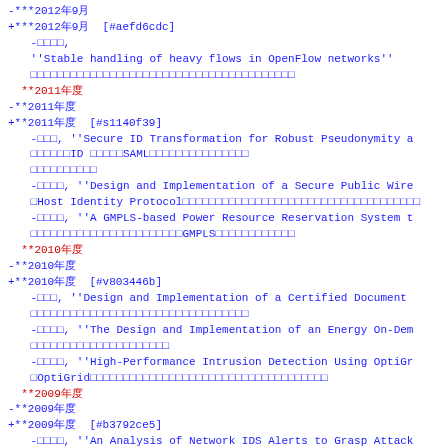-***2012年9月
+***2012年9月  [#aefd6cdc]
-□□□□,
''Stable handling of heavy flows in OpenFlow networks''
□□□□□□□□□□□□□□□□□□□□□□□□□□□□□□□□□□□□□□□□
**2011年度
-**2011年度
+**2011年度  [#s1140f39]
-□□□, ''Secure ID Transformation for Robust Pseudonymity a
□□□□□□ID □□□□□SAML□□□□□□□□□□□□□□□
□□□□□□□□□□
-□□□□, ''Design and Implementation of a Secure Public Wire
□Host Identity Protocol□□□□□□□□□□□□□□□□□□□□□□□□□□□□□□□□□□□□
-□□□□, ''A GMPLS-based Power Resource Reservation System t
□□□□□□□□□□□□□□□□□□□□□□□GMPLS□□□□□□□□□□□□
**2010年度
-**2010年度
+**2010年度  [#v803446b]
-□□□, ''Design and Implementation of a Certified Document
□□□□□□□□□□□□□□□□□□□□□□□□□□□□□□□□□
-□□□□, ''The Design and Implementation of an Energy On-Dem
□□□□□□□□□□□□□□□□□□□□□
-□□□□, ''High-Performance Intrusion Detection Using OptiGr
□OptiGrid□□□□□□□□□□□□□□□□□□□□□□□□□□□□□□□□□□□□
**2009年度
-**2009年度
+**2009年度  [#b3792ce5]
-□□□□, ''An Analysis of Network IDS Alerts to Grasp Attack
□□□□□□□□IDS□□□□□□□□□□□□□□□□□□□
-□□□□, ''Online Algorithms for the k Canadian Traveller Pr